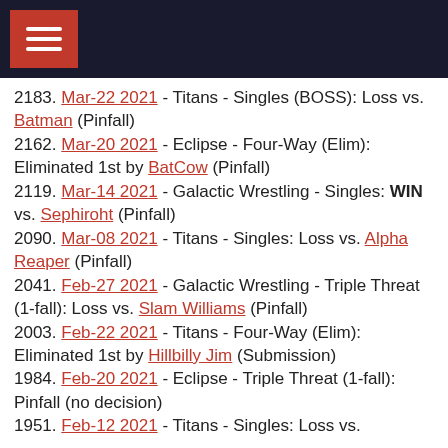Navigation menu header bar
2183. Mar-22 2021 - Titans - Singles (BOSS): Loss vs. Batman (Pinfall)
2162. Mar-20 2021 - Eclipse - Four-Way (Elim): Eliminated 1st by BatCow (Pinfall)
2119. Mar-14 2021 - Galactic Wrestling - Singles: WIN vs. Sephiroht (Pinfall)
2090. Mar-08 2021 - Titans - Singles: Loss vs. Alpha Reaper (Pinfall)
2041. Feb-27 2021 - Galactic Wrestling - Triple Threat (1-fall): Loss vs. Slam Williams (Pinfall)
2003. Feb-22 2021 - Titans - Four-Way (Elim): Eliminated 1st by Hillbilly Jim (Submission)
1984. Feb-20 2021 - Eclipse - Triple Threat (1-fall): Pinfall (no decision)
1951. Feb-12 2021 - Titans - Singles: Loss vs.